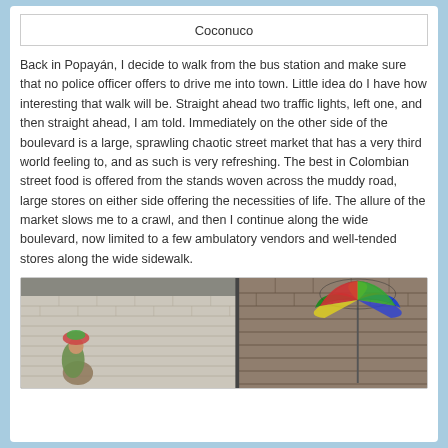Coconuco
Back in Popayán, I decide to walk from the bus station and make sure that no police officer offers to drive me into town. Little idea do I have how interesting that walk will be. Straight ahead two traffic lights, left one, and then straight ahead, I am told. Immediately on the other side of the boulevard is a large, sprawling chaotic street market that has a very third world feeling to, and as such is very refreshing. The best in Colombian street food is offered from the stands woven across the muddy road, large stores on either side offering the necessities of life. The allure of the market slows me to a crawl, and then I continue along the wide boulevard, now limited to a few ambulatory vendors and well-tended stores along the wide sidewalk.
[Figure (photo): Street scene with white-painted brick walls. Left half shows a person carrying items against a white brick wall. Right half shows a colorful umbrella (red, green, blue, yellow) against a brick wall background.]